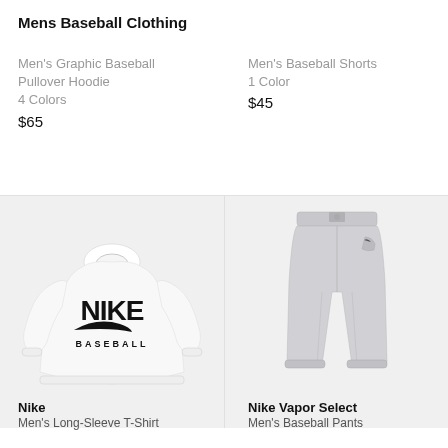Mens Baseball Clothing
Men's Graphic Baseball Pullover Hoodie
4 Colors
$65
Men's Baseball Shorts
1 Color
$45
[Figure (photo): Nike long-sleeve white baseball t-shirt with Nike Baseball logo on chest]
[Figure (photo): Nike Vapor Select grey men's baseball pants]
Nike
Men's Long-Sleeve T-Shirt
Nike Vapor Select
Men's Baseball Pants